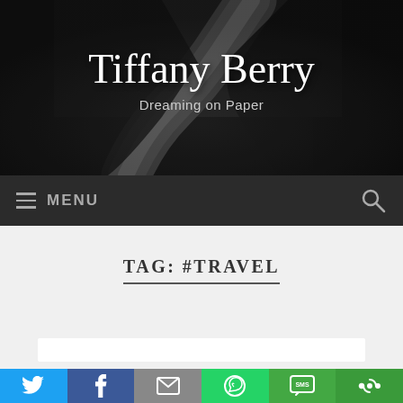[Figure (photo): Black and white photo of a winding road through dark forest, used as header background for blog 'Tiffany Berry - Dreaming on Paper']
Tiffany Berry
Dreaming on Paper
MENU
TAG: #TRAVEL